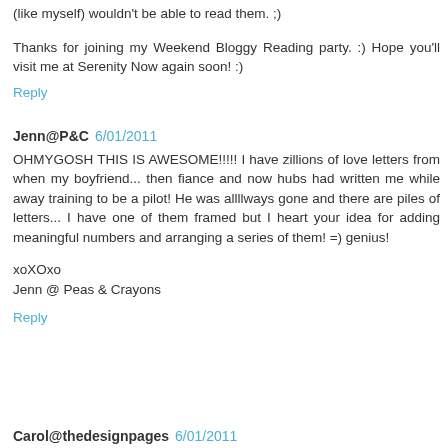(like myself) wouldn't be able to read them. ;)
Thanks for joining my Weekend Bloggy Reading party. :) Hope you'll visit me at Serenity Now again soon! :)
Reply
Jenn@P&C  6/01/2011
OHMYGOSH THIS IS AWESOME!!!!! I have zillions of love letters from when my boyfriend... then fiance and now hubs had written me while away training to be a pilot! He was allllways gone and there are piles of letters... I have one of them framed but I heart your idea for adding meaningful numbers and arranging a series of them! =) genius!
xoXOxo
Jenn @ Peas & Crayons
Reply
Carol@thedesignpages  6/01/2011